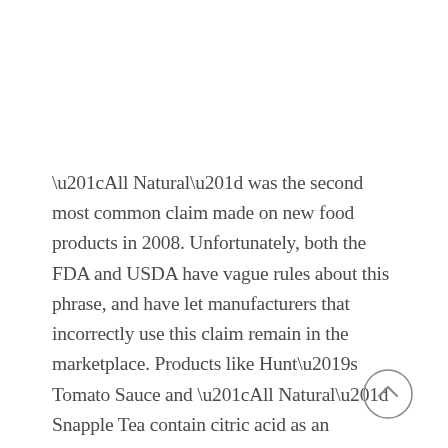“All Natural” was the second most common claim made on new food products in 2008. Unfortunately, both the FDA and USDA have vague rules about this phrase, and have let manufacturers that incorrectly use this claim remain in the marketplace. Products like Hunt’s Tomato Sauce and “All Natural” Snapple Tea contain citric acid as an additive.  Hunt’s Tomato Sauce’s claim as being “All Natural” is even more misleading considering the product is made of reconstituted tomato paste, and not whole tomatoes crushed soon after being picked, as many